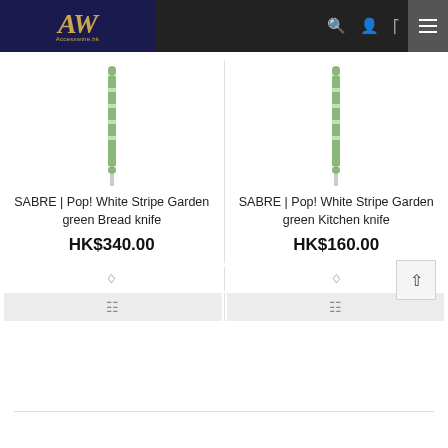[Figure (logo): AW Accesswine.hk logo on dark navy background with gold italic lettering]
[Figure (photo): Green-handled bread knife (SABRE Pop! White Stripe Garden green)]
SABRE | Pop! White Stripe Garden green Bread knife
HK$340.00
[Figure (photo): Green-handled kitchen knife (SABRE Pop! White Stripe Garden green)]
SABRE | Pop! White Stripe Garden green Kitchen knife
HK$160.00